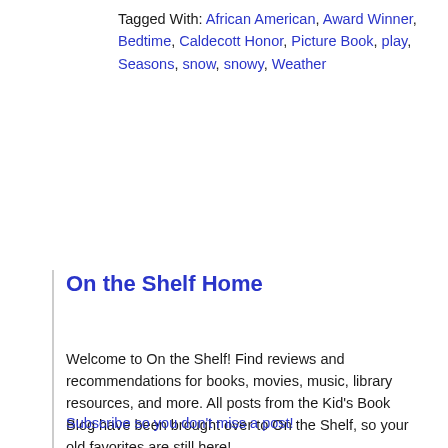Tagged With: African American, Award Winner, Bedtime, Caldecott Honor, Picture Book, play, Seasons, snow, snowy, Weather
On the Shelf Home
Welcome to On the Shelf! Find reviews and recommendations for books, movies, music, library resources, and more. All posts from the Kid's Book Blog have been brought over to On the Shelf, so your old favorites are still here!
Subscribe so you don't miss a post!